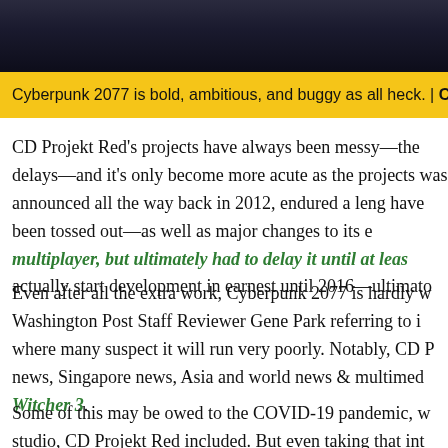[Figure (photo): Dark photo of Cyberpunk 2077 character or scene, shown at top of article]
Cyberpunk 2077 is bold, ambitious, and buggy as all heck. | CD
CD Projekt Red's projects have always been messy—the delays—and it's only become more acute as the projects was announced all the way back in 2012, endured a leng have been tossed out—as well as major changes to its e multiplayer, but ultimately had to delay it until at leas actually start development in earnest until 2016—ultimato
Even after all the extra work, Cyberpunk 2077 is hardly w Washington Post Staff Reviewer Gene Park referring to i where many suspect it will run very poorly. Notably, CD P news, Singapore news, Asia and world news & multimed Witcher 3.
Some of this may be owed to the COVID-19 pandemic, w studio, CD Projekt Red included. But even taking that int